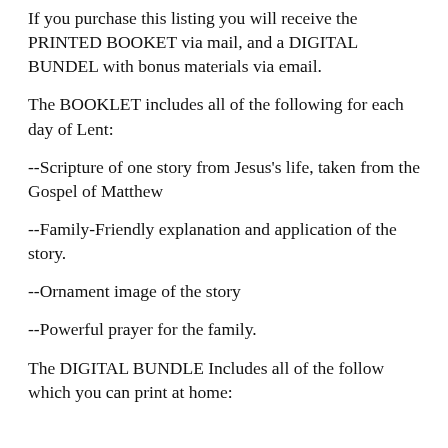If you purchase this listing you will receive the PRINTED BOOKET via mail, and a DIGITAL BUNDEL with bonus materials via email.
The BOOKLET includes all of the following for each day of Lent:
--Scripture of one story from Jesus's life, taken from the Gospel of Matthew
--Family-Friendly explanation and application of the story.
--Ornament image of the story
--Powerful prayer for the family.
The DIGITAL BUNDLE Includes all of the follow which you can print at home: